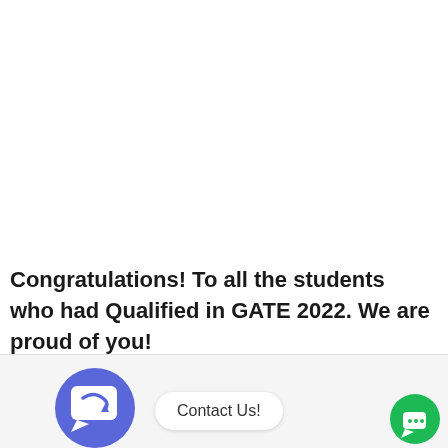Congratulations! To all the students who had Qualified in GATE 2022. We are proud of you!
[Figure (illustration): Blue circular chat/messaging icon with a white speech bubble and a curved arrow inside, representing a contact/chat widget button.]
Contact Us!
[Figure (illustration): Small green circle button with a white chat bubble icon, positioned at bottom right corner.]